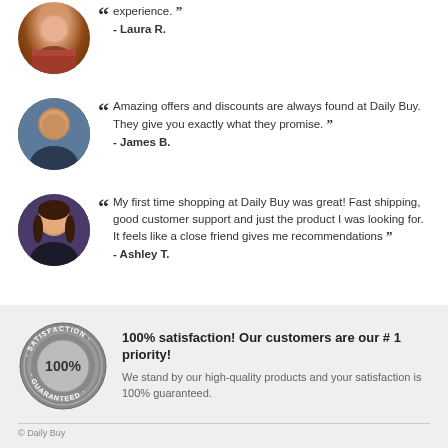experience. ”
- Laura R.
“ Amazing offers and discounts are always found at Daily Buy. They give you exactly what they promise. ”
- James B.
“ My first time shopping at Daily Buy was great! Fast shipping, good customer support and just the product I was looking for. It feels like a close friend gives me recommendations ”
- Ashley T.
100% satisfaction! Our customers are our # 1 priority!
We stand by our high-quality products and your satisfaction is 100% guaranteed.